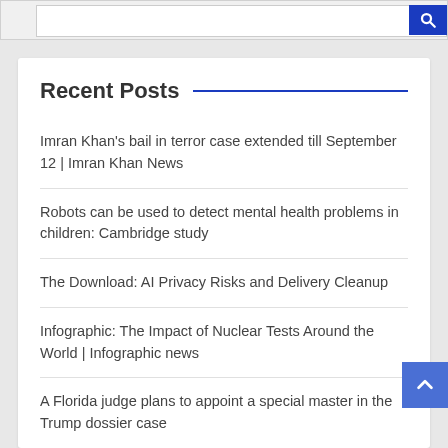Recent Posts
Imran Khan's bail in terror case extended till September 12 | Imran Khan News
Robots can be used to detect mental health problems in children: Cambridge study
The Download: AI Privacy Risks and Delivery Cleanup
Infographic: The Impact of Nuclear Tests Around the World | Infographic news
A Florida judge plans to appoint a special master in the Trump dossier case